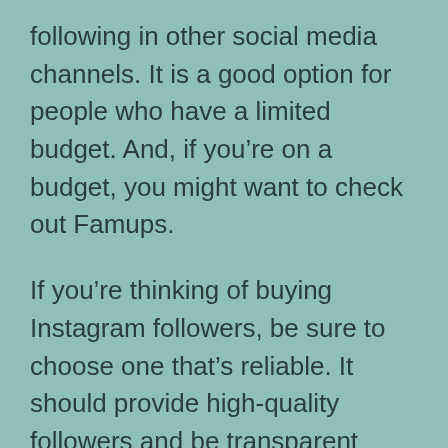following in other social media channels. It is a good option for people who have a limited budget. And, if you're on a budget, you might want to check out Famups.
If you're thinking of buying Instagram followers, be sure to choose one that's reliable. It should provide high-quality followers and be transparent about their process. Beware of misleading sales pitches or services that promise a “follower guarantee”. If you're unsure, try talking to the company before committing to a plan. And, remember that Instagram doesn't like accounts that use